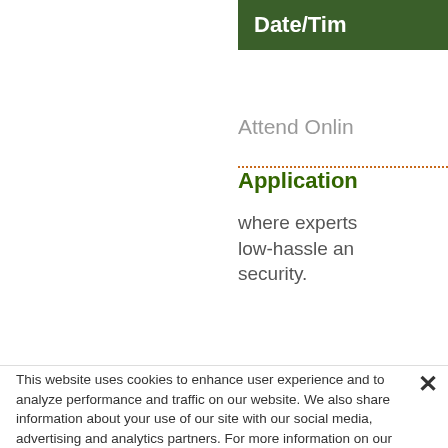Date/Tim...
Attend Onlin...
Application...
where experts... low-hassle an... security.
This website uses cookies to enhance user experience and to analyze performance and traffic on our website. We also share information about your use of our site with our social media, advertising and analytics partners. For more information on our cookie policy
Accept All Cookies
Cookies Settings